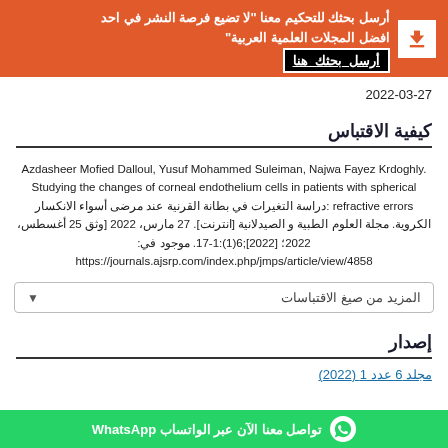[Figure (infographic): Orange banner with Arabic text: أرسل بحثك للتحكيم معنا 'لا تضيع فرصة النشر في احد افضل المجلات العلمية العربية' with a black button 'أرسل_بحثك_هنا' and a white download icon]
2022-03-27
كيفية الاقتباس
Azdasheer Mofied Dalloul, Yusuf Mohammed Suleiman, Najwa Fayez Krdoghly. Studying the changes of corneal endothelium cells in patients with spherical refractive errors: دراسة التغيرات في بطانة القرنية عند مرضى أسواء الانكسار الكروية. مجلة العلوم الطبية و الصيدلانية [انترنت]. 27 مارس، 2022 [وثق 25 أغسطس، 2022؛ [2022];6(1):1-17. موجود في: https://journals.ajsrp.com/index.php/jmps/article/view/4858
المزيد من صيغ الاقتباسات
إصدار
مجلد 6 عدد 1 (2022)
[Figure (infographic): Green WhatsApp button bar with text: تواصل معنا الآن عبر الواتساب WhatsApp]